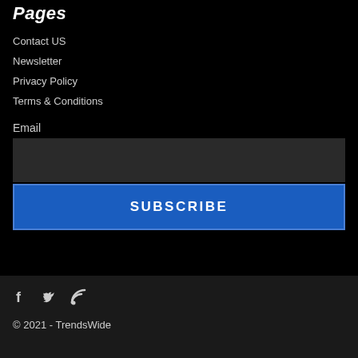Pages
Contact US
Newsletter
Privacy Policy
Terms & Conditions
Email
SUBSCRIBE
[Figure (other): Social media icons: Facebook, Twitter, RSS]
© 2021 - TrendsWide